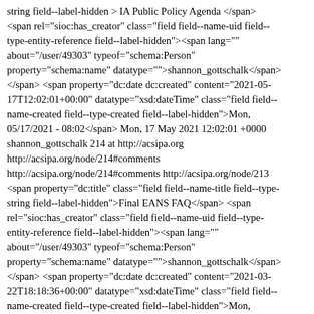string field--label-hidden > IA Public Policy Agenda </span> <span rel="sioc:has_creator" class="field field--name-uid field--type-entity-reference field--label-hidden"><span lang="" about="/user/49303" typeof="schema:Person" property="schema:name" datatype="">shannon_gottschalk</span> </span> <span property="dc:date dc:created" content="2021-05-17T12:02:01+00:00" datatype="xsd:dateTime" class="field field--name-created field--type-created field--label-hidden">Mon, 05/17/2021 - 08:02</span> Mon, 17 May 2021 12:02:01 +0000 shannon_gottschalk 214 at http://acsipa.org http://acsipa.org/node/214#comments http://acsipa.org/node/214#comments http://acsipa.org/node/213 <span property="dc:title" class="field field--name-title field--type-string field--label-hidden">Final EANS FAQ</span> <span rel="sioc:has_creator" class="field field--name-uid field--type-entity-reference field--label-hidden"><span lang="" about="/user/49303" typeof="schema:Person" property="schema:name" datatype="">shannon_gottschalk</span> </span> <span property="dc:date dc:created" content="2021-03-22T18:18:36+00:00" datatype="xsd:dateTime" class="field field--name-created field--type-created field--label-hidden">Mon, 03/22/2021 - 14:18</span> Mon, 22 Mar 2021 18:18:36 +0000 shannon_gottschalk 213 at http://acsipa.org http://acsipa.org/node/213#comments http://acsipa.org/node/213#comments